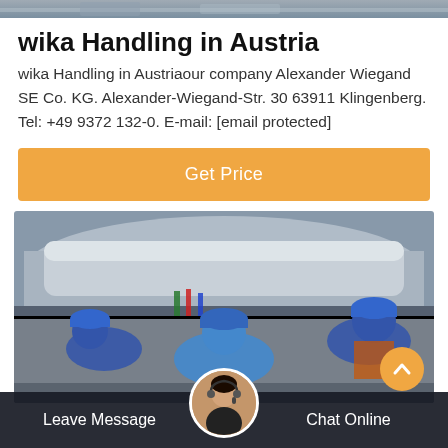[Figure (photo): Narrow horizontal strip showing industrial machinery/pipes at the very top of the page]
wika Handling in Austria
wika Handling in Austriaour company Alexander Wiegand SE Co. KG. Alexander-Wiegand-Str. 30 63911 Klingenberg. Tel: +49 9372 132-0. E-mail: [email protected]
Get Price
[Figure (photo): Workers in blue hard hats working on industrial pipe/machinery installation or maintenance at a construction site]
Leave Message   Chat Online